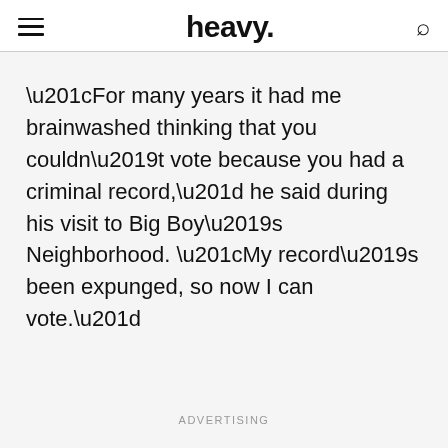heavy.
“For many years it had me brainwashed thinking that you couldn’t vote because you had a criminal record,” he said during his visit to Big Boy’s Neighborhood. “My record’s been expunged, so now I can vote.”
ADVERTISING